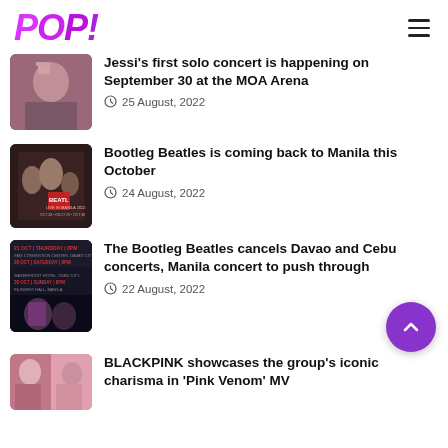POP!
Jessi's first solo concert is happening on September 30 at the MOA Arena
Bootleg Beatles is coming back to Manila this October
The Bootleg Beatles cancels Davao and Cebu concerts, Manila concert to push through
BLACKPINK showcases the group's iconic charisma in 'Pink Venom' MV